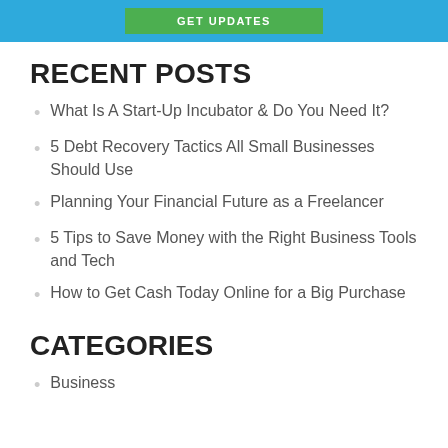GET UPDATES
RECENT POSTS
What Is A Start-Up Incubator & Do You Need It?
5 Debt Recovery Tactics All Small Businesses Should Use
Planning Your Financial Future as a Freelancer
5 Tips to Save Money with the Right Business Tools and Tech
How to Get Cash Today Online for a Big Purchase
CATEGORIES
Business